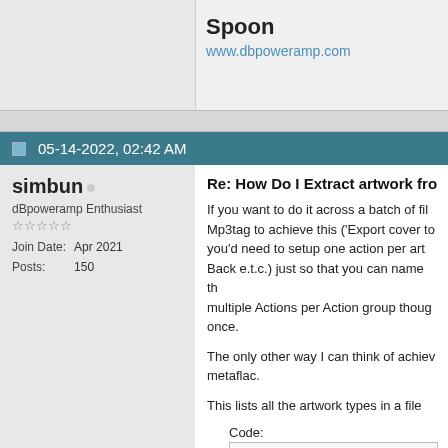Spoon
www.dbpoweramp.com
05-14-2022, 02:42 AM
simbun
dBpoweramp Enthusiast
Join Date: Apr 2021
Posts: 150
Re: How Do I Extract artwork from
If you want to do it across a batch of files, you could use Mp3tag to achieve this ('Export cover to file'). However you'd need to setup one action per artwork type (Front, Back e.t.c.) just so that you can name the files; you can run multiple Actions per Action group though, so can do it all at once.
The only other way I can think of achieving this is using metaflac.
This lists all the artwork types in a file:
Code:
$ metaflac --list --block-typ
METADATA block *3
   type: 6 (PICTURE)
is last: false